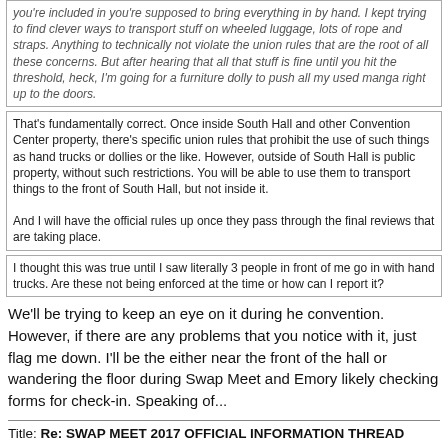you're included in you're supposed to bring everything in by hand. I kept trying to find clever ways to transport stuff on wheeled luggage, lots of rope and straps. Anything to technically not violate the union rules that are the root of all these concerns. But after hearing that all that stuff is fine until you hit the threshold, heck, I'm going for a furniture dolly to push all my used manga right up to the doors.
That's fundamentally correct. Once inside South Hall and other Convention Center property, there's specific union rules that prohibit the use of such things as hand trucks or dollies or the like. However, outside of South Hall is public property, without such restrictions. You will be able to use them to transport things to the front of South Hall, but not inside it.

And I will have the official rules up once they pass through the final reviews that are taking place.
I thought this was true until I saw literally 3 people in front of me go in with hand trucks. Are these not being enforced at the time or how can I report it?
We'll be trying to keep an eye on it during he convention. However, if there are any problems that you notice with it, just flag me down. I'll be the either near the front of the hall or wandering the floor during Swap Meet and Emory likely checking forms for check-in. Speaking of...
Title: Re: SWAP MEET 2017 OFFICIAL INFORMATION THREAD
Post by: Zelyhon on March 23, 2017, 09:09:34 AM
The Swap Meet Seller's Agreement has been approved for FanimeCon 2017. The rules are substantially the same as last year with only a few minor tweaks regarding asking for refunds. I will update the first post with the relevant info, but here's the most pertinent details:
-Swan Meet will have 120 spaces available, which should be